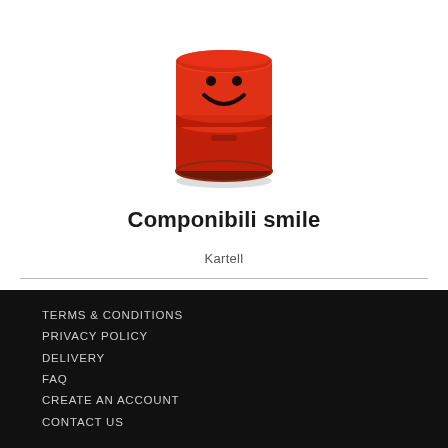[Figure (photo): Red cylindrical storage unit (Componibili smile) with a smiley face design, made of plastic, photographed on white background]
Componibili smile
Kartell
TERMS & CONDITIONS
PRIVACY POLICY
DELIVERY
FAQ
CREATE AN ACCOUNT
CONTACT US